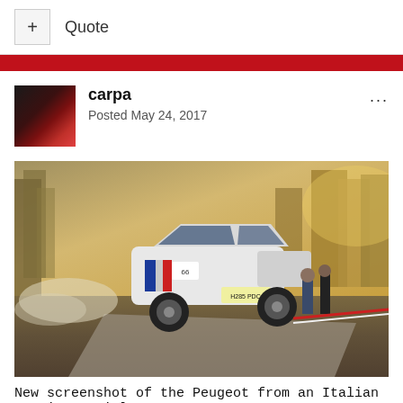+ Quote
[Figure (photo): Red horizontal banner bar]
carpa
Posted May 24, 2017
[Figure (photo): Rally car (Peugeot) airborne on a dirt road stage, spectators in background, autumn trees]
New screenshot of the Peugeot from an Italian preview article